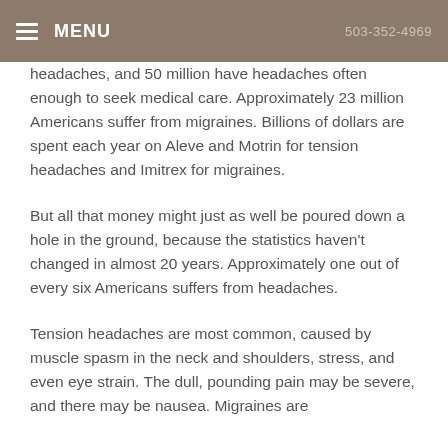MENU | 503-352-4969
headaches, and 50 million have headaches often enough to seek medical care. Approximately 23 million Americans suffer from migraines. Billions of dollars are spent each year on Aleve and Motrin for tension headaches and Imitrex for migraines.
But all that money might just as well be poured down a hole in the ground, because the statistics haven't changed in almost 20 years. Approximately one out of every six Americans suffers from headaches.
Tension headaches are most common, caused by muscle spasm in the neck and shoulders, stress, and even eye strain. The dull, pounding pain may be severe, and there may be nausea. Migraines are